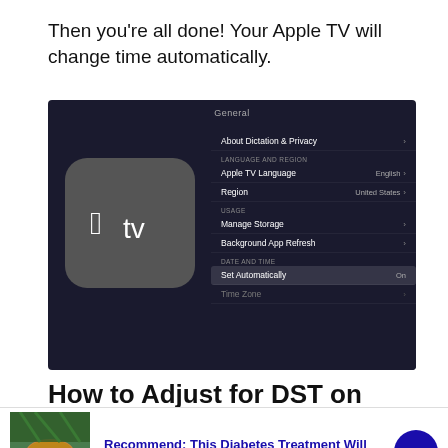Then you're all done! Your Apple TV will change time automatically.
[Figure (screenshot): Apple TV General settings screen showing Set Automatically toggled On under Date and Time section]
How to Adjust for DST on Roku
[Figure (infographic): Advertisement banner with food image, blue text reading 'Recommend: This Diabetes Treatment Will', sub-text 'n/a', close button, and blue arrow button]